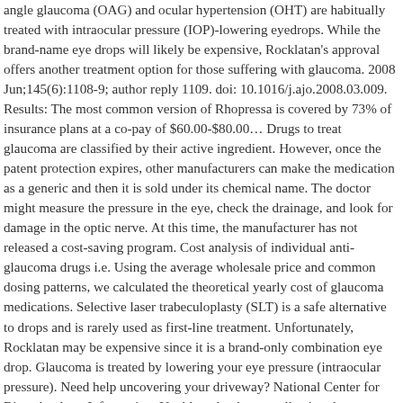angle glaucoma (OAG) and ocular hypertension (OHT) are habitually treated with intraocular pressure (IOP)-lowering eyedrops. While the brand-name eye drops will likely be expensive, Rocklatan's approval offers another treatment option for those suffering with glaucoma. 2008 Jun;145(6):1108-9; author reply 1109. doi: 10.1016/j.ajo.2008.03.009. Results: The most common version of Rhopressa is covered by 73% of insurance plans at a co-pay of $60.00-$80.00… Drugs to treat glaucoma are classified by their active ingredient. However, once the patent protection expires, other manufacturers can make the medication as a generic and then it is sold under its chemical name. The doctor might measure the pressure in the eye, check the drainage, and look for damage in the optic nerve. At this time, the manufacturer has not released a cost-saving program. Cost analysis of individual anti-glaucoma drugs i.e. Using the average wholesale price and common dosing patterns, we calculated the theoretical yearly cost of glaucoma medications. Selective laser trabeculoplasty (SLT) is a safe alternative to drops and is rarely used as first-line treatment. Unfortunately, Rocklatan may be expensive since it is a brand-only combination eye drop. Glaucoma is treated by lowering your eye pressure (intraocular pressure). Need help uncovering your driveway? National Center for Biotechnology Information, Unable to load your collection due to an error, Unable to load your delegates due to an error. MedicineNet.co explains tests for diagnosing glaucoma, Medications -- typically eye drops applied up to three times per day -- are the most common treatment for glaucoma. The most